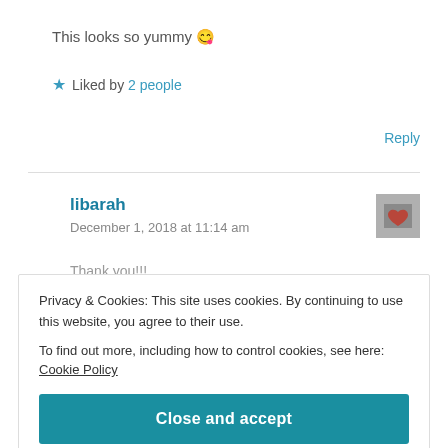This looks so yummy 😋
★ Liked by 2 people
Reply
libarah
December 1, 2018 at 11:14 am
[Figure (photo): User avatar for libarah — small square photo with a heart shape]
Thank you!!!
Privacy & Cookies: This site uses cookies. By continuing to use this website, you agree to their use.
To find out more, including how to control cookies, see here: Cookie Policy
Close and accept
EverydayGoddess
[Figure (photo): User avatar for EverydayGoddess — small square photo]